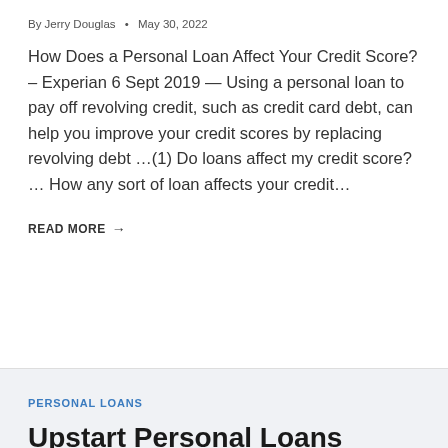By Jerry Douglas • May 30, 2022
How Does a Personal Loan Affect Your Credit Score? – Experian 6 Sept 2019 — Using a personal loan to pay off revolving credit, such as credit card debt, can help you improve your credit scores by replacing revolving debt …(1) Do loans affect my credit score? … How any sort of loan affects your credit…
READ MORE →
PERSONAL LOANS
Upstart Personal Loans